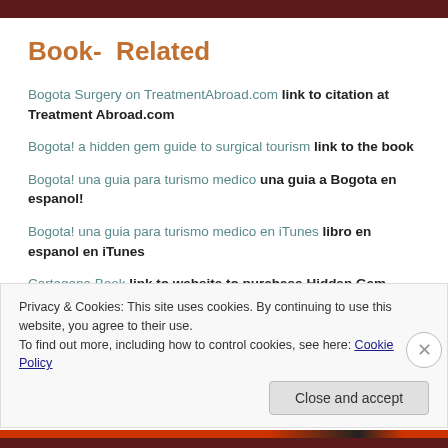Book- Related
Bogota Surgery on TreatmentAbroad.com link to citation at Treatment Abroad.com
Bogota! a hidden gem guide to surgical tourism link to the book
Bogota! una guia para turismo medico una guia a Bogota en espanol!
Bogota! una guia para turismo medico en iTunes libro en espanol en iTunes
Cartagena Book link to website to purchase Hidden Gem – Guide to surgical tourism in Cartagena
Guia de cirugia en Amazon.com por Kindle e-format version en
Privacy & Cookies: This site uses cookies. By continuing to use this website, you agree to their use. To find out more, including how to control cookies, see here: Cookie Policy
Close and accept